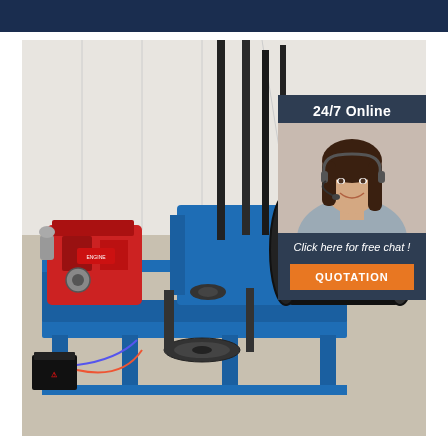[Figure (photo): Industrial diesel engine winch/hoist machine mounted on a blue painted steel frame. Features a red diesel engine on the left, black mechanical drive system with chains and sprockets in the center, and a large black drum/roller on the right. Machine is photographed indoors on a concrete floor.]
24/7 Online
[Figure (photo): Customer service agent - smiling young woman with dark hair wearing a headset, in a grey/blue shirt]
Click here for free chat !
QUOTATION